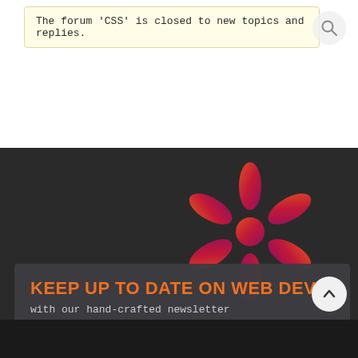The forum 'CSS' is closed to new topics and replies.
[Figure (logo): Red-orange gradient asterisk/snowflake logo mark]
KEEP UP TO DATE ON WEB DEV
with our hand-crafted newsletter